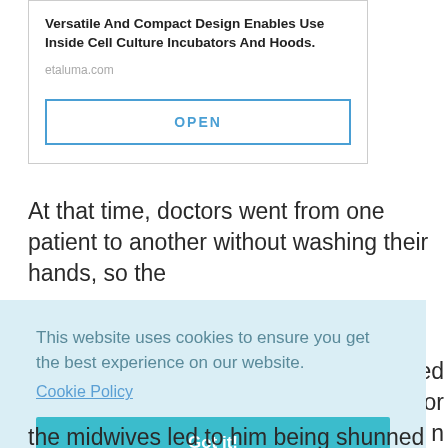[Figure (screenshot): Advertisement card with title 'Versatile And Compact Design Enables Use Inside Cell Culture Incubators And Hoods.', URL 'etaluma.com', and an OPEN button with blue border]
At that time, doctors went from one patient to another without washing their hands, so the
[Figure (screenshot): Cookie consent banner with light blue background reading 'This website uses cookies to ensure you get the best experience on our website.' with a Cookie Policy link and a teal 'Got it!' button]
ned
s for
n
eved
laim
an
the midwives led to him being shunned by his